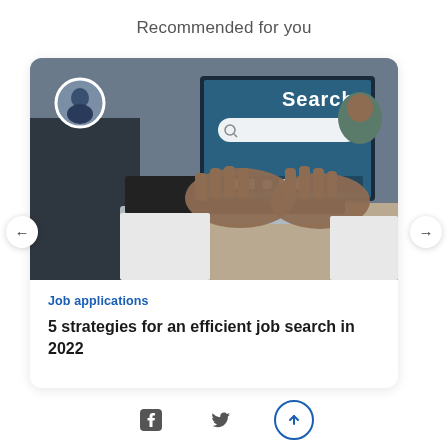Recommended for you
[Figure (photo): Person typing on a laptop showing a job search webpage with a search bar and 'Search' text visible on the screen. A small circular avatar photo of a man in a suit is overlaid in the top-left corner of the image.]
Job applications
5 strategies for an efficient job search in 2022